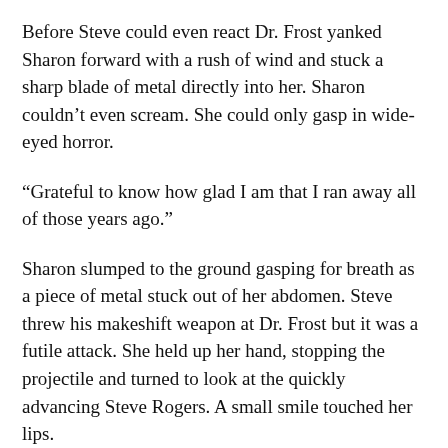Before Steve could even react Dr. Frost yanked Sharon forward with a rush of wind and stuck a sharp blade of metal directly into her. Sharon couldn’t even scream. She could only gasp in wide-eyed horror.
“Grateful to know how glad I am that I ran away all of those years ago.”
Sharon slumped to the ground gasping for breath as a piece of metal stuck out of her abdomen. Steve threw his makeshift weapon at Dr. Frost but it was a futile attack. She held up her hand, stopping the projectile and turned to look at the quickly advancing Steve Rogers. A small smile touched her lips.
“Oh, Captain. You are weak without your shield.”
She readied herself for his attack, completely unaware that